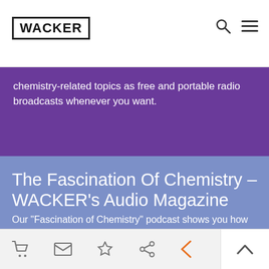WACKER
chemistry-related topics as free and portable radio broadcasts whenever you want.
The Fascination Of Chemistry – WACKER's Audio Magazine
Our "Fascination of Chemistry" podcast shows you how chemistry ensures perfectly functioning products in all areas of life